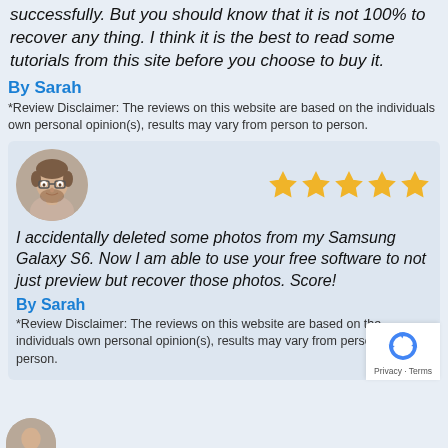successfully. But you should know that it is not 100% to recover any thing. I think it is the best to read some tutorials from this site before you choose to buy it.
By Sarah
*Review Disclaimer: The reviews on this website are based on the individuals own personal opinion(s), results may vary from person to person.
[Figure (photo): Circular avatar photo of a young man with glasses and beard against a grey background]
[Figure (other): Five gold star rating icons]
I accidentally deleted some photos from my Samsung Galaxy S6. Now I am able to use your free software to not just preview but recover those photos. Score!
By Sarah
*Review Disclaimer: The reviews on this website are based on the individuals own personal opinion(s), results may vary from person to person.
[Figure (logo): Google reCAPTCHA privacy badge with recycling arrow icon, Privacy and Terms text]